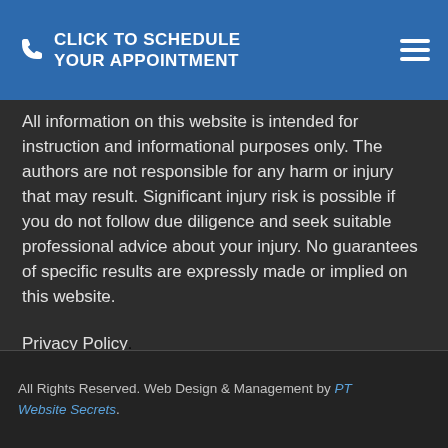CLICK TO SCHEDULE YOUR APPOINTMENT
All information on this website is intended for instruction and informational purposes only. The authors are not responsible for any harm or injury that may result. Significant injury risk is possible if you do not follow due diligence and seek suitable professional advice about your injury. No guarantees of specific results are expressly made or implied on this website.
Privacy Policy
All Rights Reserved. Web Design & Management by PT Website Secrets.